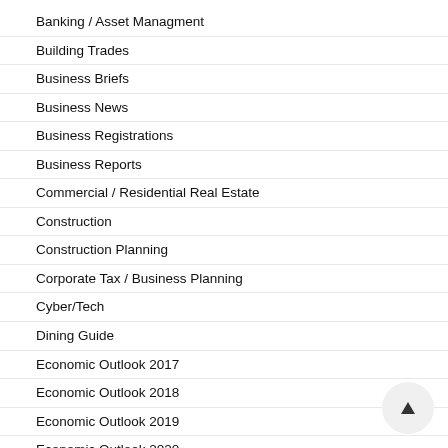Banking / Asset Managment
Building Trades
Business Briefs
Business News
Business Registrations
Business Reports
Commercial / Residential Real Estate
Construction
Construction Planning
Corporate Tax / Business Planning
Cyber/Tech
Dining Guide
Economic Outlook 2017
Economic Outlook 2018
Economic Outlook 2019
Economic Outlook 2020